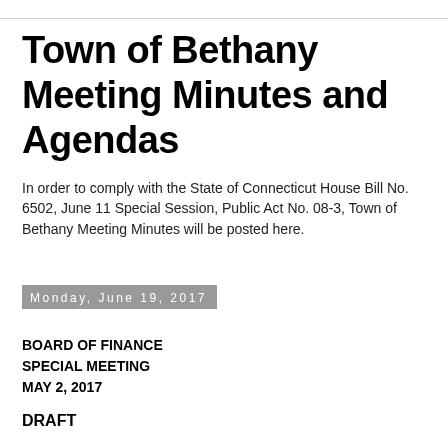Town of Bethany Meeting Minutes and Agendas
In order to comply with the State of Connecticut House Bill No. 6502, June 11 Special Session, Public Act No. 08-3, Town of Bethany Meeting Minutes will be posted here.
Monday, June 19, 2017
BOARD OF FINANCE SPECIAL MEETING MAY 2, 2017
DRAFT